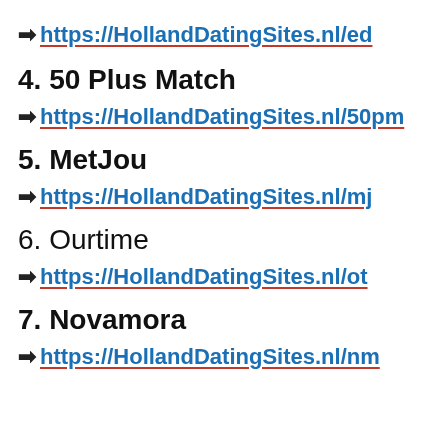➡ https://HollandDatingSites.nl/ed
4. 50 Plus Match
➡ https://HollandDatingSites.nl/50pm
5. MetJou
➡ https://HollandDatingSites.nl/mj
6. Ourtime
➡ https://HollandDatingSites.nl/ot
7. Novamora
➡ https://HollandDatingSites.nl/nm